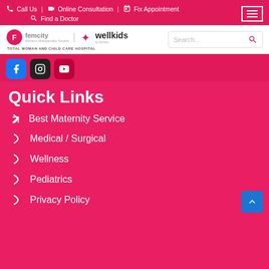Call Us | Online Consultation | Fix Appointment | Find a Doctor
[Figure (logo): Femcity and Wellkids by Femcity logos — Total Woman and Child Care Hospital]
Quick Links
Best Maternity Service
Medical / Surgical
Wellness
Pediatrics
Privacy Policy